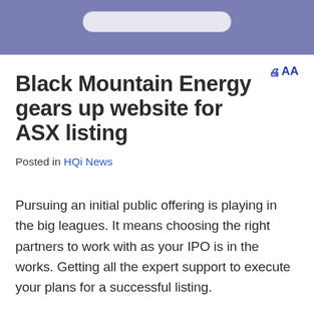Black Mountain Energy gears up website for ASX listing
Posted in HQi News
Pursuing an initial public offering is playing in the big leagues. It means choosing the right partners to work with as your IPO is in the works. Getting all the expert support to execute your plans for a successful listing.